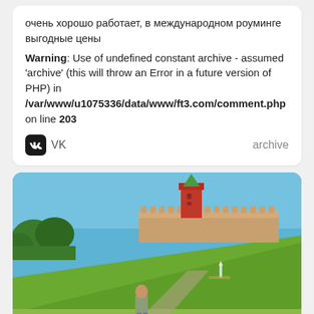очень хорошо работает, в международном роуминге выгодные цены
Warning: Use of undefined constant archive - assumed 'archive' (this will throw an Error in a future version of PHP) in /var/www/u1075336/data/www/ft3.com/comment.php on line 203
VK   archive
[Figure (photo): Outdoor photo of a man standing in front of a car on a road, with a green hill behind him, a brick fortress/kremlin wall and tower at the top of the hill, trees on the left, blue sky background.]